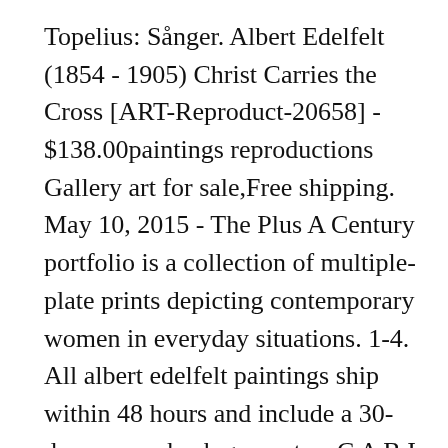Topelius: Sånger. Albert Edelfelt (1854 - 1905) Christ Carries the Cross [ART-Reproduct-20658] - $138.00paintings reproductions Gallery art for sale,Free shipping. May 10, 2015 - The Plus A Century portfolio is a collection of multiple-plate prints depicting contemporary women in everyday situations. 1-4. All albert edelfelt paintings ship within 48 hours and include a 30-day money-back guarantee. C A B I N E T London . 1-4. Albert Edelfelt - 160+ Realist Paintings - Realism (English Edition) 3,82€ 2: Albert Edelfelt: 55,00€ 3: Fähnrich Stahl;Mit Zeichnungen von Albert Edelfelt. Albert Camus, The Plague, The Stranger, The Fall; cover designs by David Pearson (Penguin Classics, July).This is so simple, but really